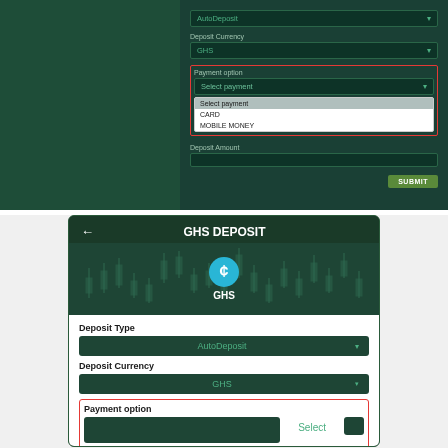[Figure (screenshot): Desktop web app screenshot showing GHS Deposit form with AutoDeposit type, GHS currency selected, Payment option dropdown open showing: Select payment (highlighted), CARD, MOBILE MONEY options. Red border around Payment option section. Deposit Amount field and SUBMIT button visible.]
[Figure (screenshot): Mobile app screenshot showing GHS DEPOSIT screen with back arrow, GHS currency icon, AutoDeposit type dropdown, GHS currency dropdown, Payment option section with red border, Select popup visible, and partial Payment R... label at bottom.]